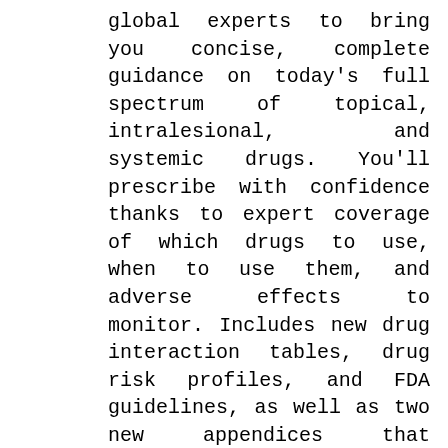global experts to bring you concise, complete guidance on today's full spectrum of topical, intralesional, and systemic drugs. You'll prescribe with confidence thanks to expert coverage of which drugs to use, when to use them, and adverse effects to monitor. Includes new drug interaction tables, drug risk profiles, and FDA guidelines, as well as two new appendices that summarize chapter questions and summarize highest-risk drug interactions. Covers the best uses for new biologic therapeutics. Contains new chapters covering medical decision-making principles, PDE-4 and JAK inhibitors, interleukin 17 inhibitors, interleukin 23 inhibitors, additional biologic therapeutics, and hedgehog pathway inhibitors. Contains quick-access summaries of indications/contraindications, dosage guidelines, drug interactions, drug monitoring